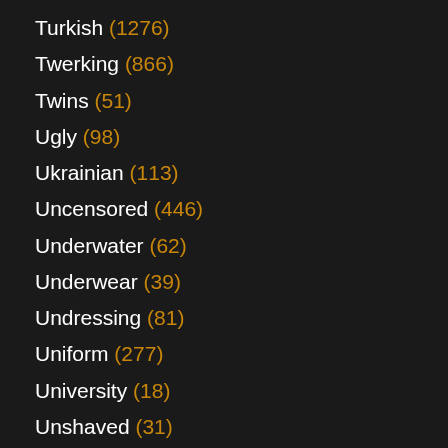Turkish (1276)
Twerking (866)
Twins (51)
Ugly (98)
Ukrainian (113)
Uncensored (446)
Underwater (62)
Underwear (39)
Undressing (81)
Uniform (277)
University (18)
Unshaved (31)
Upskirt (1764)
Urethra (26)
VIP (62)